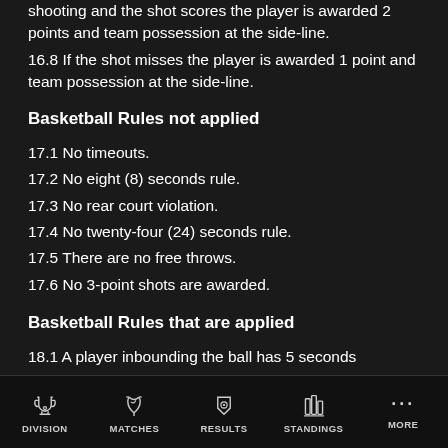shooting and the shot scores the player is awarded 2 points and team possession at the side-line.
16.8 If the shot misses the player is awarded 1 point and team possession at the side-line.
Basketball Rules not applied
17.1 No timeouts.
17.2 No eight (8) seconds rule.
17.3 No rear court violation.
17.4 No twenty-four (24) seconds rule.
17.5 There are no free throws.
17.6 No 3-point shots are awarded.
Basketball Rules that are applied
18.1 A player inbounding the ball has 5 seconds
DIVISION   MATCHES   RESULTS   STANDINGS   MORE